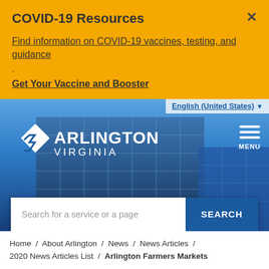COVID-19 Resources
Find information on COVID-19 vaccines, testing, and guidance
.
Get Your Vaccine and Booster
[Figure (screenshot): Arlington Virginia government website header with building photo background, logo, hamburger menu, language selector, and search bar]
Home / About Arlington / News / News Articles / 2020 News Articles List / Arlington Farmers Markets